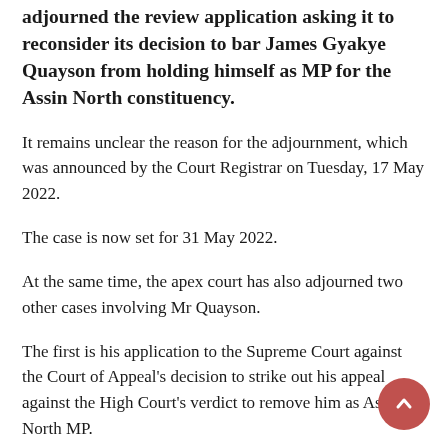adjourned the review application asking it to reconsider its decision to bar James Gyakye Quayson from holding himself as MP for the Assin North constituency.
It remains unclear the reason for the adjournment, which was announced by the Court Registrar on Tuesday, 17 May 2022.
The case is now set for 31 May 2022.
At the same time, the apex court has also adjourned two other cases involving Mr Quayson.
The first is his application to the Supreme Court against the Court of Appeal's decision to strike out his appeal against the High Court's verdict to remove him as Assin North MP.
The second case involves the interpretation of article